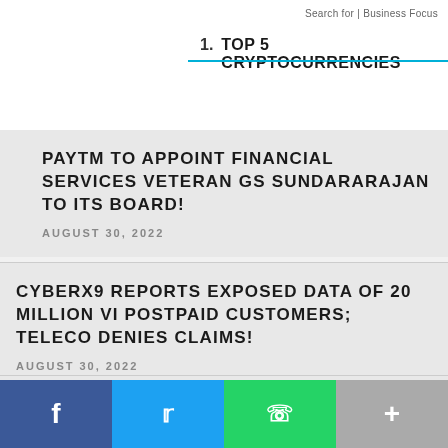Search for | Business Focus
1. TOP 5 CRYPTOCURRENCIES
PAYTM TO APPOINT FINANCIAL SERVICES VETERAN GS SUNDARARAJAN TO ITS BOARD!
AUGUST 30, 2022
CYBERX9 REPORTS EXPOSED DATA OF 20 MILLION VI POSTPAID CUSTOMERS; TELECO DENIES CLAIMS!
AUGUST 30, 2022
JIOAIRFIBRE PLANS ON DELIVERING TRUE 5G IN HOMES, HIGHLY AFFORDABLE 5G JIO
f  t  ⊕  +